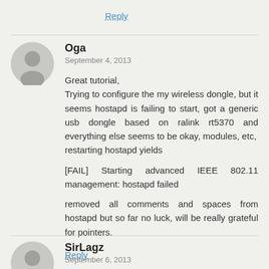Reply
Oga
September 4, 2013
Great tutorial,
Trying to configure the my wireless dongle, but it seems hostapd is failing to start, got a generic usb dongle based on ralink rt5370 and everything else seems to be okay, modules, etc,
restarting hostapd yields

[FAIL] Starting advanced IEEE 802.11 management: hostapd failed

removed all comments and spaces from hostapd but so far no luck, will be really grateful for pointers.
Reply
SirLagz
September 6, 2013